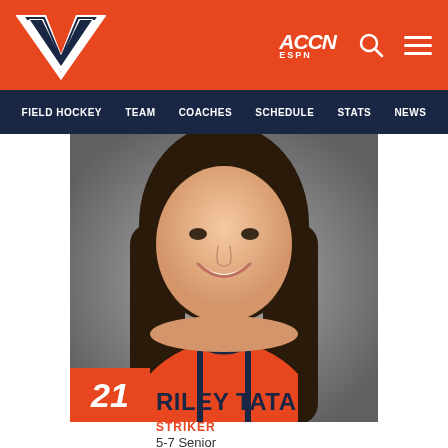Virginia Cavaliers Field Hockey - ACCN ESPN
[Figure (logo): University of Virginia Cavaliers logo (V with crossed swords) on orange background header bar, with ACCN ESPN logo, search icon, and hamburger menu icon]
FIELD HOCKEY  TEAM  COACHES  SCHEDULE  STATS  NEWS
[Figure (photo): Headshot photo of Riley Tata, a young woman with long dark hair, smiling, wearing an orange and navy Virginia field hockey jersey. Number 21 badge in orange at bottom left of photo.]
RILEY TATA
STRIKER
5-7 Senior